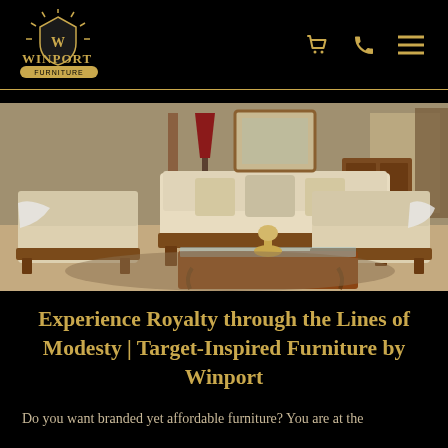WINPORT FURNITURE — Navigation header with logo, cart, phone, and menu icons
[Figure (photo): Luxury living room furniture set featuring cream/beige tufted sofas and armchairs with ornate dark walnut carved wood frames, a glass-top coffee table with carved wood legs, decorative pillows, and a red lamp in a richly decorated room setting.]
Experience Royalty through the Lines of Modesty | Target-Inspired Furniture by Winport
Do you want branded yet affordable furniture? You are at the